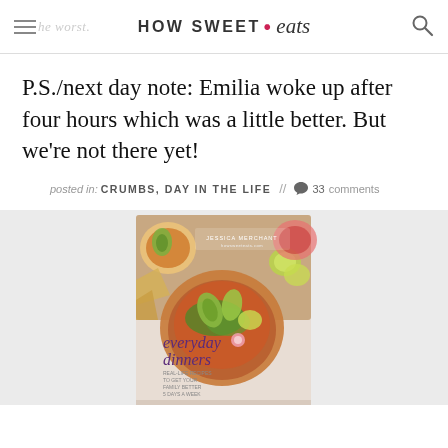HOW SWEET • eats
P.S./next day note: Emilia woke up after four hours which was a little better. But we're not there yet!
posted in: CRUMBS, DAY IN THE LIFE // 33 comments
[Figure (photo): Book cover of 'everyday dinners' by Jessica Merchant, showing bowls of food with avocado and lime, displayed on a light gray background]